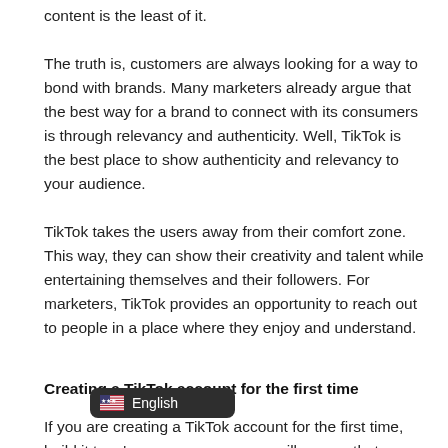content is the least of it.
The truth is, customers are always looking for a way to bond with brands. Many marketers already argue that the best way for a brand to connect with its consumers is through relevancy and authenticity. Well, TikTok is the best place to show authenticity and relevancy to your audience.
TikTok takes the users away from their comfort zone. This way, they can show their creativity and talent while entertaining themselves and their followers. For marketers, TikTok provides an opportunity to reach out to people in a place where they enjoy and understand.
Creating a TikTok account for the first time
If you are creating a TikTok account for the first time, build it to a 'sou will ensure that you have somewhere to start you re also people that you can copy. Finding